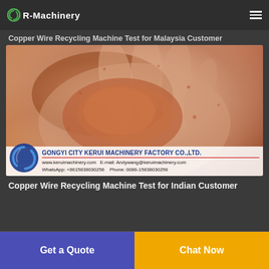R-Machinery
Copper Wire Recycling Machine Test for Malaysia Customer
[Figure (photo): Hand holding copper wire granules/pieces recovered from recycling machine. Company watermark overlay: GONGYI CITY KERUI MACHINERY FACTORY CO.,LTD. with website www.keruimachinery.com, email Andywang@keruimachinery.com, WhatsApp: +8615838030256, Phone: 0086-15838030256]
Copper Wire Recycling Machine Test for Indian Customer